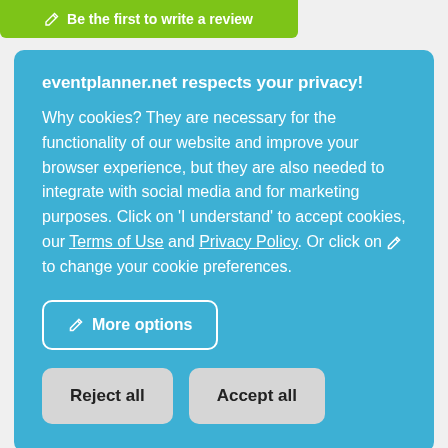Be the first to write a review
eventplanner.net respects your privacy!
Why cookies? They are necessary for the functionality of our website and improve your browser experience, but they are also needed to integrate with social media and for marketing purposes. Click on 'I understand' to accept cookies, our Terms of Use and Privacy Policy. Or click on ✏ to change your cookie preferences.
More options
Reject all
Accept all